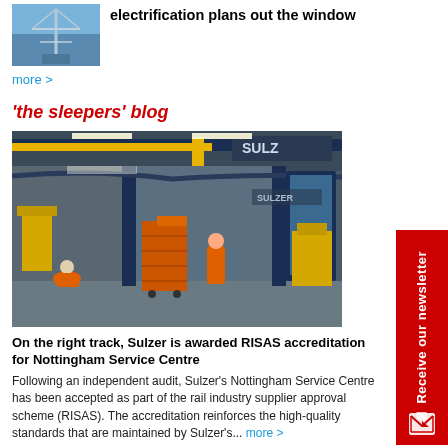[Figure (photo): Aerial or tower infrastructure photo, blue sky background]
electrification plans out the window
more >
'the sleepers' blog
[Figure (photo): Industrial workshop interior with orange-suited workers, Sulzer service centre, yellow crane overhead, blue steel columns, orange tool trolleys]
On the right track, Sulzer is awarded RISAS accreditation for Nottingham Service Centre
Following an independent audit, Sulzer's Nottingham Service Centre has been accepted as part of the rail industry supplier approval scheme (RISAS). The accreditation reinforces the high-quality standards that are maintained by Sulzer's... more >
Receive our newsletter